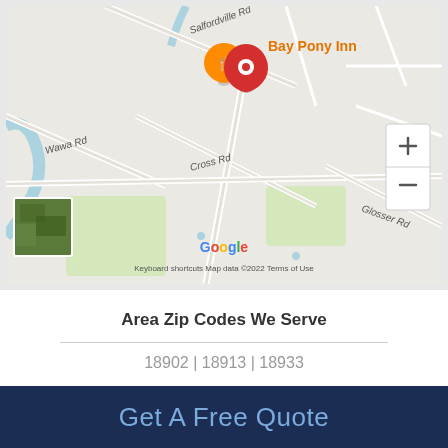[Figure (map): Google Maps screenshot showing Bay Pony Inn location with map pins, roads including Salfordville Rd, Wawa Rd, Cross Rd, Glosser Rd, zoom controls, satellite thumbnail, Google logo, keyboard shortcuts, map data copyright 2022, and Terms of Use.]
Area Zip Codes We Serve
18902 | 18913 | 18933
Get A Free Quote